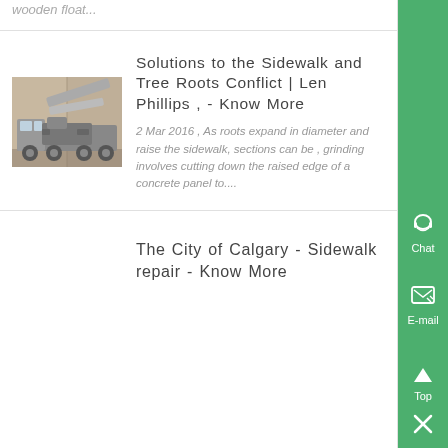wooden float...
Solutions to the Sidewalk and Tree Roots Conflict | Len Phillips , - Know More
2 Mar 2016 , As roots expand in diameter and raise the sidewalk, sections can be , grinding involves cutting down the raised edge of a concrete panel to....
The City of Calgary - Sidewalk repair - Know More